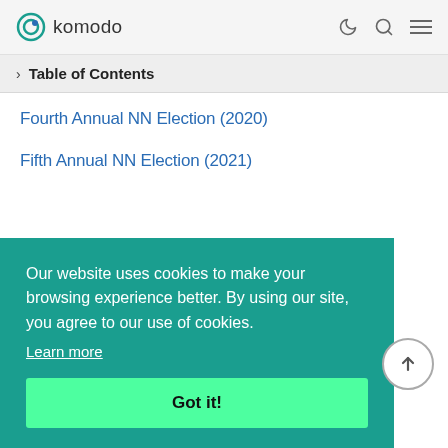komodo
> Table of Contents
Fourth Annual NN Election (2020)
Fifth Annual NN Election (2021)
Our website uses cookies to make your browsing experience better. By using our site, you agree to our use of cookies.
Learn more
Got it!